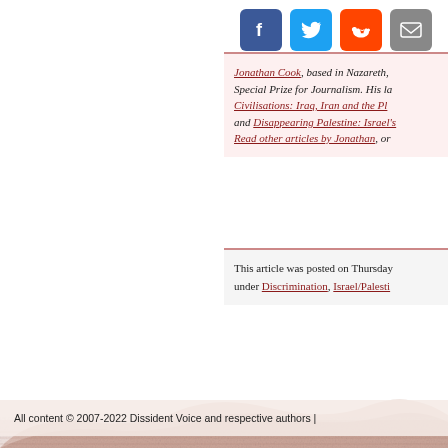[Figure (other): Social sharing icons: Facebook, Twitter, Reddit, Email]
Jonathan Cook, based in Nazareth, Special Prize for Journalism. His la... Civilisations: Iraq, Iran and the Pl... and Disappearing Palestine: Israel's Read other articles by Jonathan, or...
This article was posted on Thursday under Discrimination, Israel/Palesti...
[Figure (photo): Brick or rubble landscape photo at the bottom of the page]
All content © 2007-2022 Dissident Voice and respective authors |